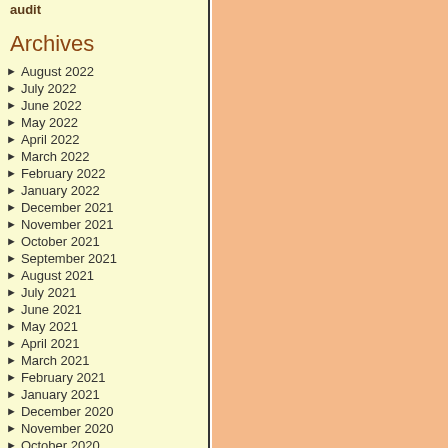audit
Archives
August 2022
July 2022
June 2022
May 2022
April 2022
March 2022
February 2022
January 2022
December 2021
November 2021
October 2021
September 2021
August 2021
July 2021
June 2021
May 2021
April 2021
March 2021
February 2021
January 2021
December 2020
November 2020
October 2020
September 2020